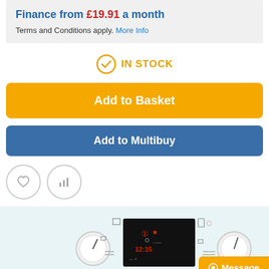Finance from £19.91 a month
Terms and Conditions apply. More Info
IN STOCK
Add to Basket
Add to Multibuy
[Figure (screenshot): Product appliance control panel image with dials and digital display showing 12:15]
Message